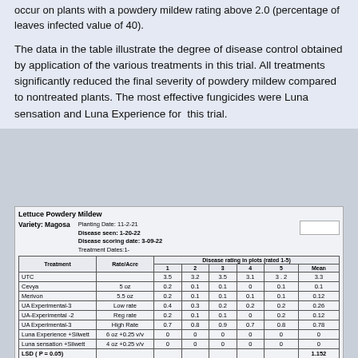occur on plants with a powdery mildew rating above 2.0 (percentage of leaves infected value of 40).
The data in the table illustrate the degree of disease control obtained by application of the various treatments in this trial. All treatments significantly reduced the final severity of powdery mildew compared to nontreated plants. The most effective fungicides were Luna sensation and Luna Experience for this trial.
Lettuce Powdery Mildew
| Treatment | Rate/Acre | 1 | 2 | 3 | 4 | 5 | Mean |
| --- | --- | --- | --- | --- | --- | --- | --- |
| UTC |  | 3.5 | 3.2 | 3.5 | 3.1 | 3.2 | 3.3 |
| Cevya | 5 oz | 0.2 | 0.1 | 0.1 | 0 | 0.1 | 0.1 |
| Merivon | 5.5 oz | 0.2 | 0.1 | 0.1 | 0.1 | 0.1 | 0.12 |
| UA Experimental-3 | Low rate | 0.4 | 0.3 | 0.2 | 0.2 | 0.2 | 0.26 |
| UA-Experimental -2 | Reg rate | 0.2 | 0.1 | 0.1 | 0 | 0.2 | 0.12 |
| UA Experimental-3 | High Rate | 0.7 | 0.8 | 0.9 | 0.7 | 0.8 | 0.78 |
| Luna Experience +Silwett | 6 oz +0.25 v/v | 0 | 0 | 0 | 0 | 0 | 0 |
| Luna sensation +Silwett | 4 oz +0.25 v/v | 0 | 0 | 0 | 0 | 0 | 0 |
| LSD ( P = 0.05) |  |  |  |  |  |  | 1.152 |